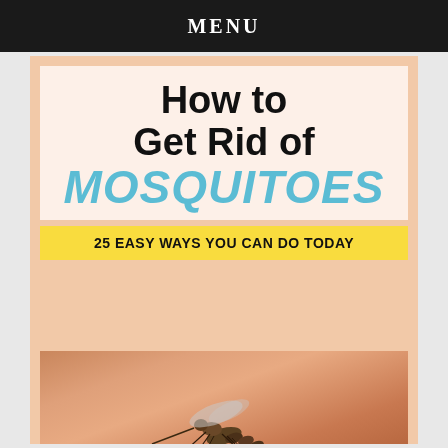MENU
[Figure (infographic): How to Get Rid of MOSQUITOES - 25 Easy Ways You Can Do Today. Infographic with large title text on peach/cream background and a close-up photo of a mosquito on skin.]
How to Get Rid of MOSQUITOES
25 EASY WAYS YOU CAN DO TODAY